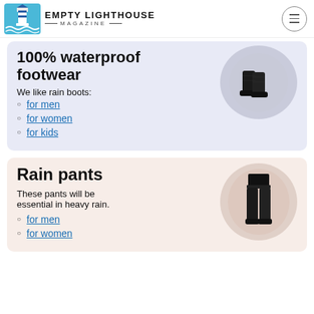EMPTY LIGHTHOUSE MAGAZINE
100% waterproof footwear
We like rain boots:
for men
for women
for kids
[Figure (photo): Black rain boots on circular background]
Rain pants
These pants will be essential in heavy rain.
for men
for women
[Figure (photo): Person wearing black rain pants on circular background]